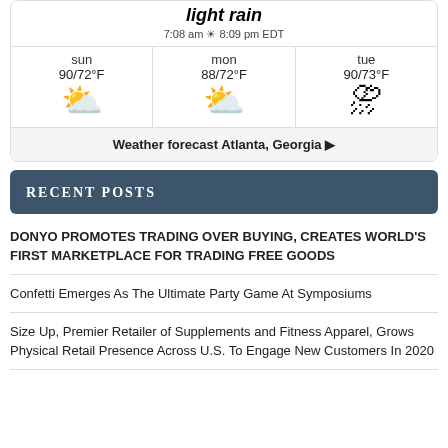light rain
7:08 am ☀ 8:09 pm EDT
[Figure (infographic): 3-day weather forecast for Atlanta Georgia showing sun, mon, tue with temperatures and weather icons. Sun: 90/72°F partly cloudy, Mon: 88/72°F partly cloudy, Tue: 90/73°F thunderstorm]
Weather forecast Atlanta, Georgia ▶
RECENT POSTS
DONYO PROMOTES TRADING OVER BUYING, CREATES WORLD'S FIRST MARKETPLACE FOR TRADING FREE GOODS
Confetti Emerges As The Ultimate Party Game At Symposiums
Size Up, Premier Retailer of Supplements and Fitness Apparel, Grows Physical Retail Presence Across U.S. To Engage New Customers In 2020